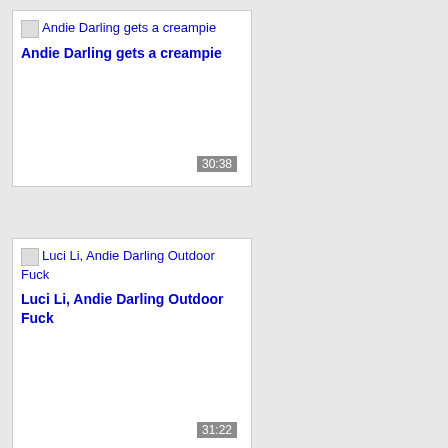[Figure (screenshot): Video thumbnail card for 'Andie Darling gets a creampie' with broken image icon, title text in blue bold, and duration badge '30:38']
[Figure (screenshot): Video thumbnail card for 'Luci Li, Andie Darling Outdoor Fuck' with broken image icon, title text in blue bold, and duration badge '31:22']